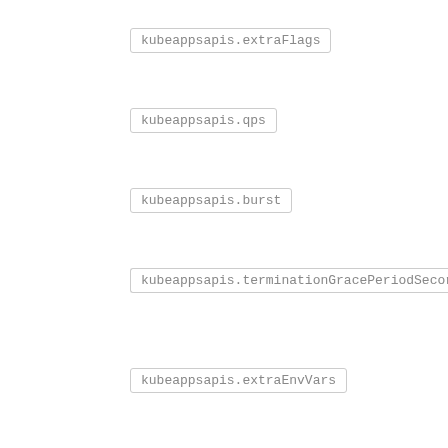kubeappsapis.extraFlags
kubeappsapis.qps
kubeappsapis.burst
kubeappsapis.terminationGracePeriodSeconds
kubeappsapis.extraEnvVars